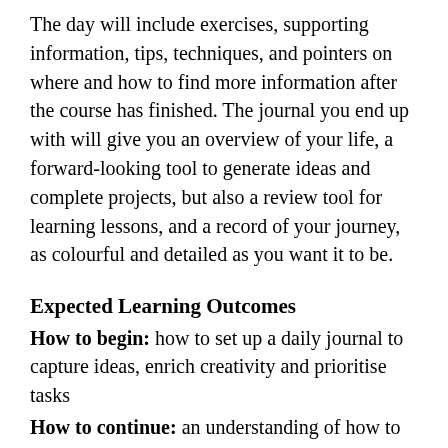The day will include exercises, supporting information, tips, techniques, and pointers on where and how to find more information after the course has finished. The journal you end up with will give you an overview of your life, a forward-looking tool to generate ideas and complete projects, but also a review tool for learning lessons, and a record of your journey, as colourful and detailed as you want it to be.
Expected Learning Outcomes
How to begin: how to set up a daily journal to capture ideas, enrich creativity and prioritise tasks
How to continue: an understanding of how to use a range of journal techniques to achieve large goals such as writing a novel or finishing a degree
How to take it further: understanding how and why an analogue journal complements digital tools and how to